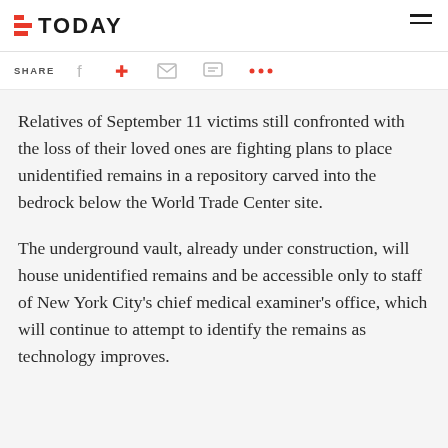TODAY
SHARE
Relatives of September 11 victims still confronted with the loss of their loved ones are fighting plans to place unidentified remains in a repository carved into the bedrock below the World Trade Center site.
The underground vault, already under construction, will house unidentified remains and be accessible only to staff of New York City's chief medical examiner's office, which will continue to attempt to identify the remains as technology improves.